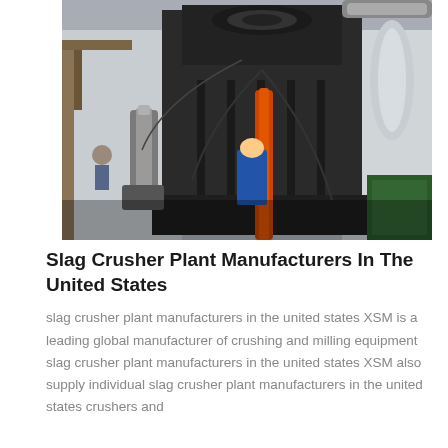[Figure (photo): Industrial slag crusher machine in a manufacturing plant, showing large black metal machinery with hydraulic components, pipes, and an orange vertical element. Industrial facility background with equipment and ventilation.]
Slag Crusher Plant Manufacturers In The United States
slag crusher plant manufacturers in the united states XSM is a leading global manufacturer of crushing and milling equipment slag crusher plant manufacturers in the united states XSM also supply individual slag crusher plant manufacturers in the united states crushers and